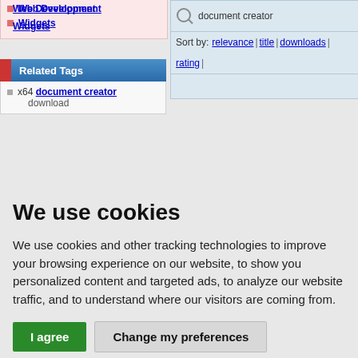Web Development
Widgets
Related Tags
x64 document creator
download
document creator
Sort by: relevance | title | downloads | rating |
We use cookies
We use cookies and other tracking technologies to improve your browsing experience on our website, to show you personalized content and targeted ads, to analyze our website traffic, and to understand where our visitors are coming from.
I agree  Change my preferences